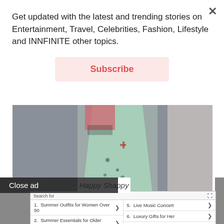Get updated with the latest and trending stories on Entertainment, Travel, Celebrities, Fashion, Lifestyle and INNFINITE other topics.
Subscribe
[Figure (photo): Fashion photo showing models wearing colorful summer dresses on a runway with gray background]
Close ad
Happy Shappy
[Figure (screenshot): Yahoo Search sponsored ad widget with search results listing: 1. Summer Outfits for Women Over 50, 2. Summer Essentials for Older Women, 3. Buy Trendy Summer Dresses on Sale, 4. Best Places to Travel, 5. Live Music Concert, 6. Luxury Gifts for Her, 7. Best Places To Retire, 8. Framed Canvas Prints]
So w... not try dr... s are not v... ption of fla... the